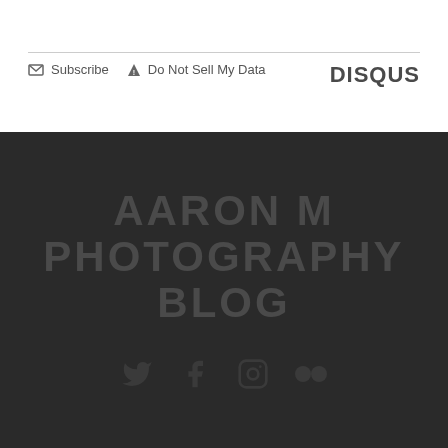Subscribe  Do Not Sell My Data
DISQUS
AARON M PHOTOGRAPHY BLOG
[Figure (other): Social media icons: Twitter, Facebook, Instagram, Flickr]